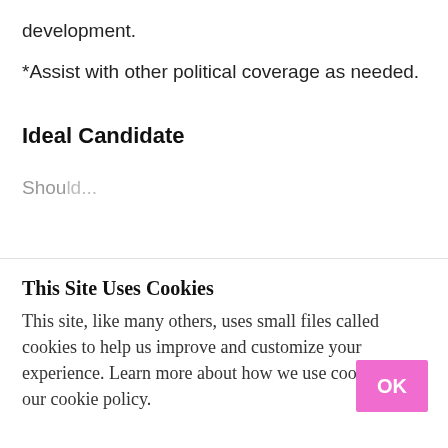development.
*Assist with other political coverage as needed.
Ideal Candidate
Shou...
This Site Uses Cookies
This site, like many others, uses small files called cookies to help us improve and customize your experience. Learn more about how we use cookies in our cookie policy.